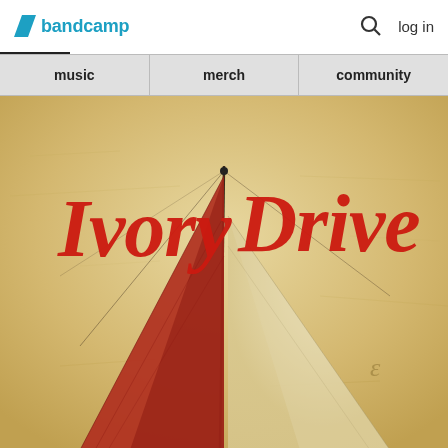bandcamp   log in
music   merch   community
[Figure (illustration): Album cover artwork for 'Ivory Drive' featuring a painterly illustration of a sailing boat with a red sail against a warm beige/cream textured background. The title 'Ivory Drive' is rendered in large red calligraphic lettering at the top of the image.]